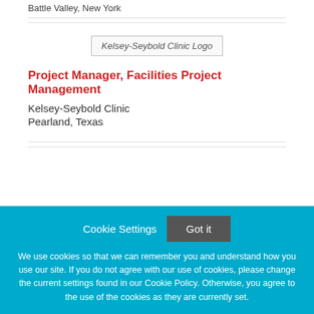Battle Valley, New York
[Figure (logo): Kelsey-Seybold Clinic Logo]
Project Manager, Facilities Project Management
Kelsey-Seybold Clinic
Pearland, Texas
Cookie Settings  Got it
We use cookies so that we can remember you and understand how you use our site. If you do not agree with our use of cookies, please change the current settings found in our Cookie Policy. Otherwise, you agree to the use of the cookies as they are currently set.